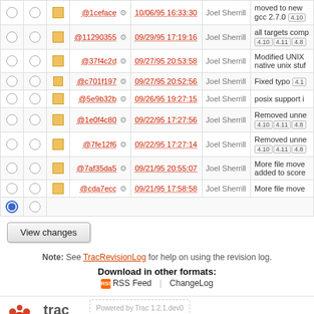|  |  |  | Rev |  | Date | Author | Log Message |
| --- | --- | --- | --- | --- | --- | --- | --- |
| ○ | ○ | □ | @1ceface | ⚙ | 10/06/95 16:33:30 | Joel Sherrill | moved to new gcc 2.7.0 [4.10] |
| ○ | ○ | □ | @11290355 | ⚙ | 09/29/95 17:19:16 | Joel Sherrill | all targets comp [4.10][4.11][4.8] |
| ○ | ○ | □ | @37f4c2d | ⚙ | 09/27/95 20:53:58 | Joel Sherrill | Modified UNIX native unix stuf |
| ○ | ○ | □ | @c701f197 | ⚙ | 09/27/95 20:52:56 | Joel Sherrill | Fixed typo [4.1] |
| ○ | ○ | □ | @5e9b32b | ⚙ | 09/26/95 19:27:15 | Joel Sherrill | posix support i |
| ○ | ○ | □ | @1e0f4c80 | ⚙ | 09/22/95 17:27:56 | Joel Sherrill | Removed unne [4.10][4.11][4.8] |
| ○ | ○ | □ | @7fe12f6 | ⚙ | 09/22/95 17:27:14 | Joel Sherrill | Removed unne [4.10][4.11][4.8] |
| ○ | ○ | □ | @7af35da5 | ⚙ | 09/21/95 20:55:07 | Joel Sherrill | More file move added to score |
| ○ | ○ | □ | @cda7ecc | ⚙ | 09/21/95 17:58:58 | Joel Sherrill | More file move |
| ● | ○ |  |  |  |  |  |  |
View changes
Note: See TracRevisionLog for help on using the revision log.
Download in other formats: RSS Feed | ChangeLog
Powered by Trac 1.2.1.dev0 By Edgewall Software.